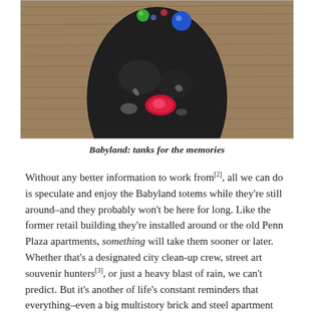[Figure (photo): Close-up photograph of a dark sculptural totem or figure partially submerged in or near water, with colorful beads or decorations (blue, green) on top and a red mouth area, against a wooden plank background.]
Babyland: tanks for the memories
Without any better information to work from[2], all we can do is speculate and enjoy the Babyland totems while they're still around–and they probably won't be here for long. Like the former retail building they're installed around or the old Penn Plaza apartments, something will take them sooner or later. Whether that's a designated city clean-up crew, street art souvenir hunters[3], or just a heavy blast of rain, we can't predict. But it's another of life's constant reminders that everything–even a big multistory brick and steel apartment complex–is really just here for a snap of the fingers or a blink of one of those haunting baby blue eyes.